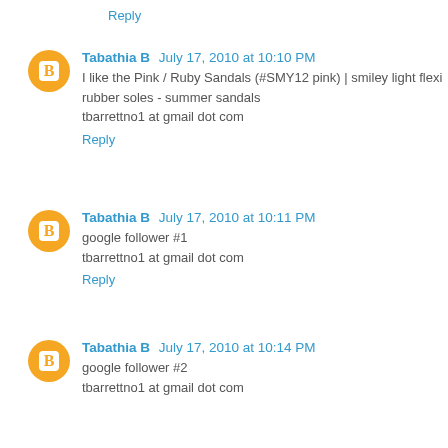Reply
Tabathia B July 17, 2010 at 10:10 PM
I like the Pink / Ruby Sandals (#SMY12 pink) | smiley light flexi rubber soles - summer sandals
tbarrettno1 at gmail dot com
Reply
Tabathia B July 17, 2010 at 10:11 PM
google follower #1
tbarrettno1 at gmail dot com
Reply
Tabathia B July 17, 2010 at 10:14 PM
google follower #2
tbarrettno1 at gmail dot com